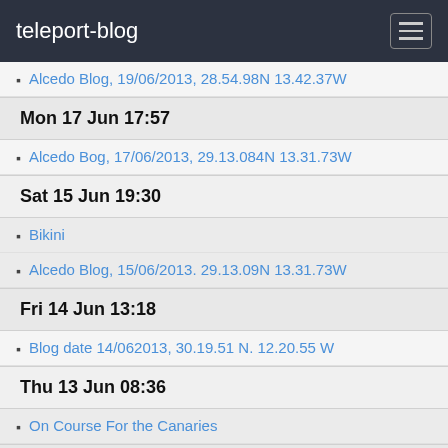teleport-blog
Alcedo Blog, 19/06/2013, 28.54.98N 13.42.37W
Mon 17 Jun 17:57
Alcedo Bog, 17/06/2013, 29.13.084N 13.31.73W
Sat 15 Jun 19:30
Bikini
Alcedo Blog, 15/06/2013. 29.13.09N 13.31.73W
Fri 14 Jun 13:18
Blog date 14/062013, 30.19.51 N. 12.20.55 W
Thu 13 Jun 08:36
On Course For the Canaries
Tue 11 Jun 19:52
Rabat, 11 June 2013
May 2013
Mon 27 May 19:50
Rabat, 27/05/13